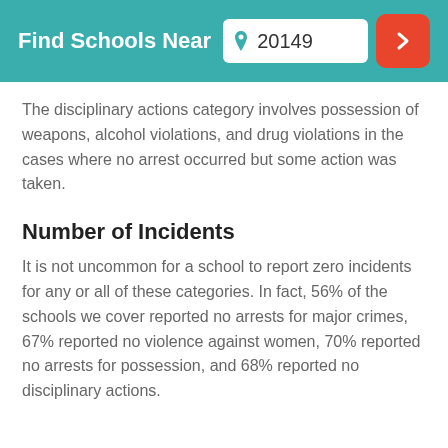Find Schools Near 20149
The disciplinary actions category involves possession of weapons, alcohol violations, and drug violations in the cases where no arrest occurred but some action was taken.
Number of Incidents
It is not uncommon for a school to report zero incidents for any or all of these categories. In fact, 56% of the schools we cover reported no arrests for major crimes, 67% reported no violence against women, 70% reported no arrests for possession, and 68% reported no disciplinary actions.